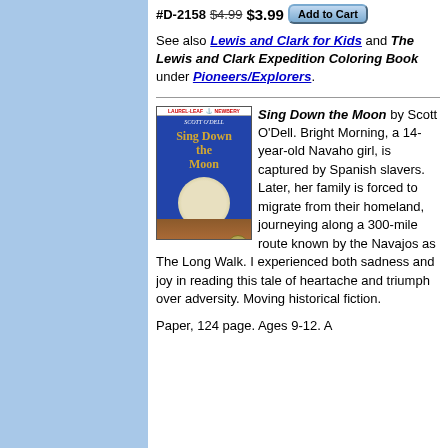#D-2158 $4.99 $3.99 Add to Cart
See also Lewis and Clark for Kids and The Lewis and Clark Expedition Coloring Book under Pioneers/Explorers.
[Figure (photo): Book cover of 'Sing Down the Moon' by Scott O'Dell, featuring a young Native American woman with a moon in background, Laurel-Leaf Newbery edition]
Sing Down the Moon by Scott O'Dell. Bright Morning, a 14-year-old Navaho girl, is captured by Spanish slavers. Later, her family is forced to migrate from their homeland, journeying along a 300-mile route known by the Navajos as The Long Walk. I experienced both sadness and joy in reading this tale of heartache and triumph over adversity. Moving historical fiction.
Paper, 124 page. Ages 9-12. A